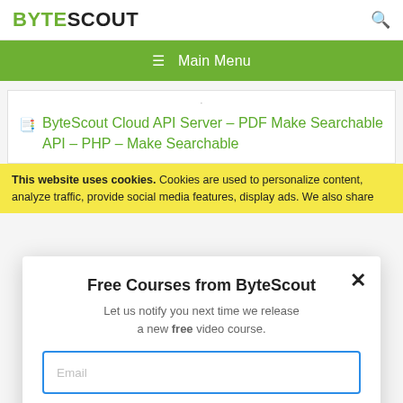BYTESCOUT
≡ Main Menu
· ByteScout Cloud API Server – PDF Make Searchable API – PHP – Make Searchable
This website uses cookies. Cookies are used to personalize content, analyze traffic, provide social media features, display ads. We also share
Free Courses from ByteScout
Let us notify you next time we release a new free video course.
Email
SUBSCRIBE